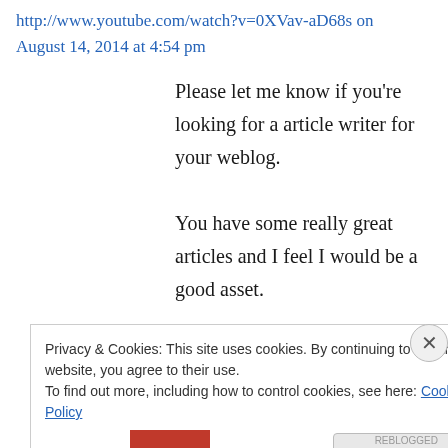http://www.youtube.com/watch?v=0XVav-aD68s on August 14, 2014 at 4:54 pm
Please let me know if you're looking for a article writer for your weblog. You have some really great articles and I feel I would be a good asset. If you ever want to take some of the load off, I'd absolutely love to write some articles for your blog in exchange for a link
Privacy & Cookies: This site uses cookies. By continuing to use this website, you agree to their use.
To find out more, including how to control cookies, see here: Cookie Policy
Close and accept